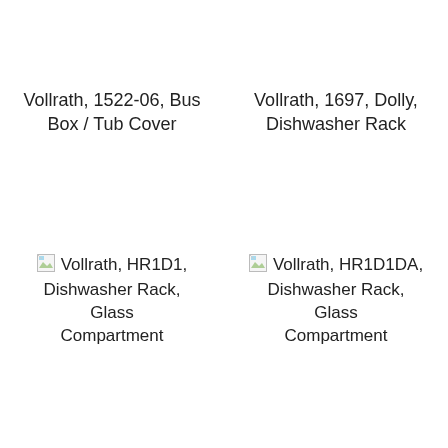Vollrath, 1522-06, Bus Box / Tub Cover
Vollrath, 1697, Dolly, Dishwasher Rack
[Figure (photo): Broken image placeholder for Vollrath, HR1D1, Dishwasher Rack, Glass Compartment]
Vollrath, HR1D1, Dishwasher Rack, Glass Compartment
[Figure (photo): Broken image placeholder for Vollrath, HR1D1DA, Dishwasher Rack, Glass Compartment]
Vollrath, HR1D1DA, Dishwasher Rack, Glass Compartment